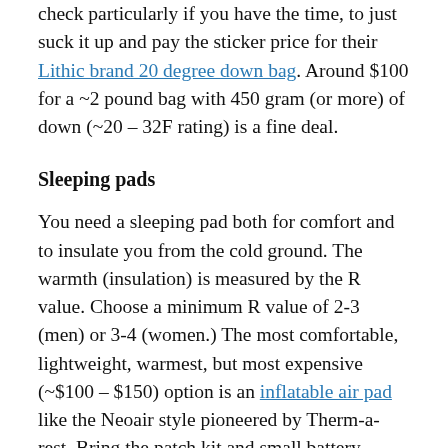check particularly if you have the time, to just suck it up and pay the sticker price for their Lithic brand 20 degree down bag. Around $100 for a ~2 pound bag with 450 gram (or more) of down (~20 – 32F rating) is a fine deal.
Sleeping pads
You need a sleeping pad both for comfort and to insulate you from the cold ground. The warmth (insulation) is measured by the R value. Choose a minimum R value of 2-3 (men) or 3-4 (women.) The most comfortable, lightweight, warmest, but most expensive (~$100 – $150) option is an inflatable air pad like the Neoair style pioneered by Therm-a-rest. Bring the patch kit and small battery-powered pump with you, or prepare to spend 5 minutes blowing it up yourself.